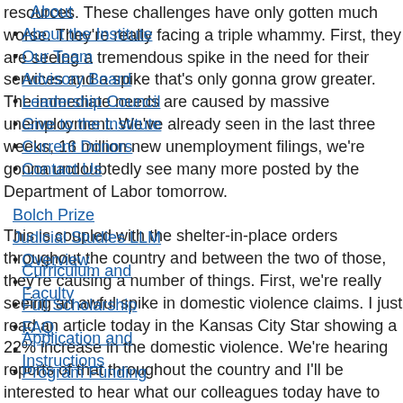resources. These challenges have only gotten much worse. They're really facing a triple whammy. First, they are seeing a tremendous spike in the need for their services and a spike that's only gonna grow greater. The immediate needs are caused by massive unemployment. We've already seen in the last three weeks, 16 million new unemployment filings, we're gonna undoubtedly see many more posted by the Department of Labor tomorrow.
About
About the Institute
Our Team
Advisory Board
Leadership Council
Give to the Institute
Current Donors
Contact Us
This is coupled with the shelter-in-place orders throughout the country and between the two of those, they're causing a number of things. First, we're really seeing an awful spike in domestic violence claims. I just read an article today in the Kansas City Star showing a 22% increase in the domestic violence. We're hearing reports of that throughout the country and I'll be interested to hear what our colleagues today have to say about that. Once the
Bolch Prize
Judicial Studies LLM
Overview
Curriculum and Faculty
Full Scholarship
FAQ
Application and Instructions
Program Funding